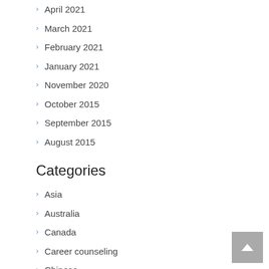April 2021
March 2021
February 2021
January 2021
November 2020
October 2015
September 2015
August 2015
Categories
Asia
Australia
Canada
Career counseling
Chinese